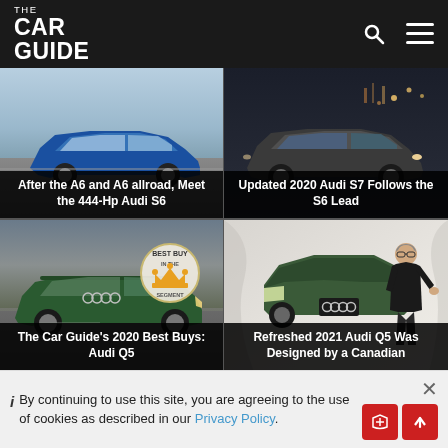THE CAR GUIDE
[Figure (photo): Blue Audi S6 sedan parked on a tarmac surface, side/front view]
After the A6 and A6 allroad, Meet the 444-Hp Audi S6
[Figure (photo): Dark grey Audi S7 sedan at night with bridge lights in background]
Updated 2020 Audi S7 Follows the S6 Lead
[Figure (photo): Green Audi Q5 SUV on wet pavement with Best Buy In The Segment badge overlay]
The Car Guide's 2020 Best Buys: Audi Q5
[Figure (photo): Green Audi Q5 with a man standing beside it in a studio setting]
Refreshed 2021 Audi Q5 Was Designed by a Canadian
i By continuing to use this site, you are agreeing to the use of cookies as described in our Privacy Policy.